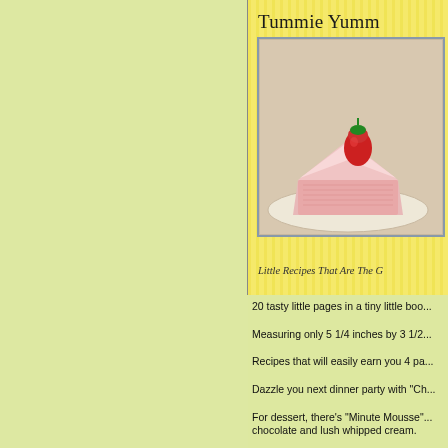[Figure (illustration): Book cover for 'Tummie Yumm...' recipe book with yellow stripes background, showing a slice of strawberry cake/cheesecake on a plate with a strawberry on top. Subtitle reads 'Little Recipes That Are The G...']
20 tasty little pages in a tiny little boo...
Measuring only 5 1/4 inches by 3 1/2...
Recipes that will easily earn you 4 pa...
Dazzle you next dinner party with "Ch...
For dessert, there's "Minute Mousse"... chocolate and lush whipped cream.